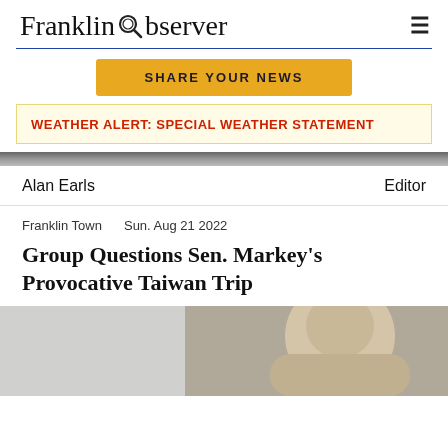Franklin Observer
SHARE YOUR NEWS
WEATHER ALERT: SPECIAL WEATHER STATEMENT
Alan Earls    Editor
Franklin Town    Sun. Aug 21 2022
Group Questions Sen. Markey's Provocative Taiwan Trip
[Figure (photo): Portrait photo of a person, partially visible, showing face and upper body against a dark/grey background]